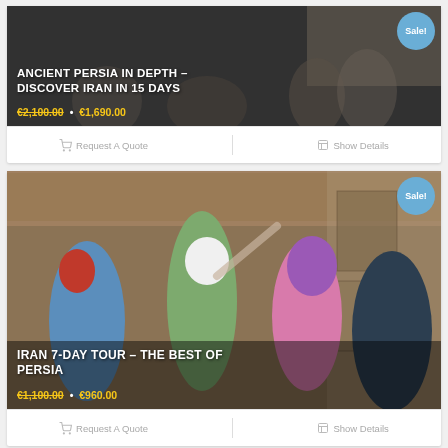[Figure (photo): Tour card 1: Ancient Persia In Depth – Discover Iran In 15 Days. Photo of people walking, dark overlay. Sale badge. Price €2,100.00 • €1,690.00]
Request A Quote | Show Details (card 1 actions)
[Figure (photo): Tour card 2: Iran 7-Day Tour – The Best Of Persia. Photo of tourists inside ornate building looking upward. Sale badge. Price €1,100.00 • €960.00]
Request A Quote | Show Details (card 2 actions)